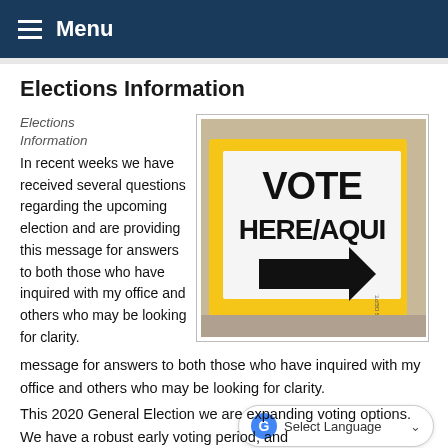Menu
Elections Information
Elections Information
In recent weeks we have received several questions regarding the upcoming election and are providing this message for answers to both those who have inquired with my office and others who may be looking for clarity.
[Figure (photo): A yellow 'VOTE HERE/AQUI' sign with a black arrow pointing right, placed on pavement. Maricopa County Elections Dept branding visible.]
This 2020 General Election we are expanding voting options. We have a robust early voting period, and
Select Language